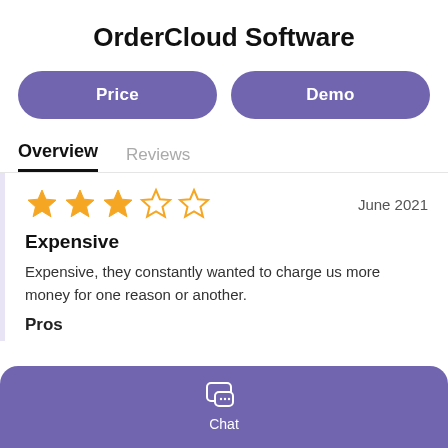OrderCloud Software
Price
Demo
Overview
Reviews
June 2021
Expensive
Expensive, they constantly wanted to charge us more money for one reason or another.
Pros
Chat